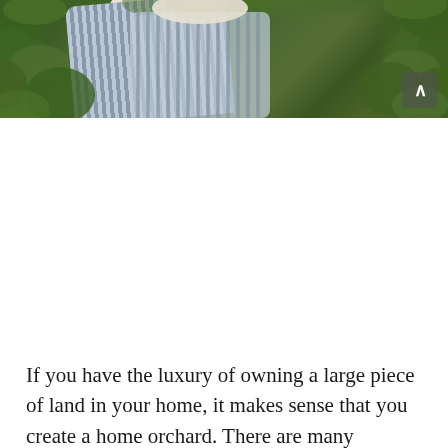[Figure (photo): A person in a striped blue and white shirt and hat standing among dense green leafy plants/orchard trees. The photo is cropped showing the upper portion of the person surrounded by lush green foliage.]
If you have the luxury of owning a large piece of land in your home, it makes sense that you create a home orchard. There are many advantages to having a